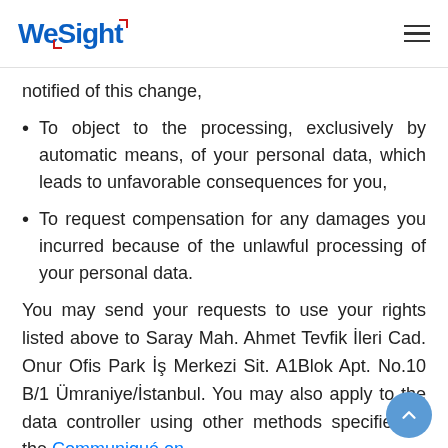WeSight
notified of this change,
To object to the processing, exclusively by automatic means, of your personal data, which leads to unfavorable consequences for you,
To request compensation for any damages you incurred because of the unlawful processing of your personal data.
You may send your requests to use your rights listed above to Saray Mah. Ahmet Tevfik İleri Cad. Onur Ofis Park İş Merkezi Sit. A1Blok Apt. No.10 B/1 Ümraniye/İstanbul. You may also apply to the data controller using other methods specified in the Communiqué on